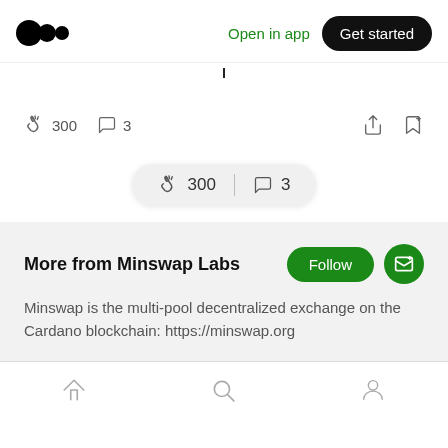Medium logo | Open in app | Get started
300 claps  3 comments
[Figure (infographic): Floating pill showing 300 claps and 3 comments icons]
More from Minswap Labs
Minswap is the multi-pool decentralized exchange on the Cardano blockchain: https://minswap.org
Home | Search | Profile